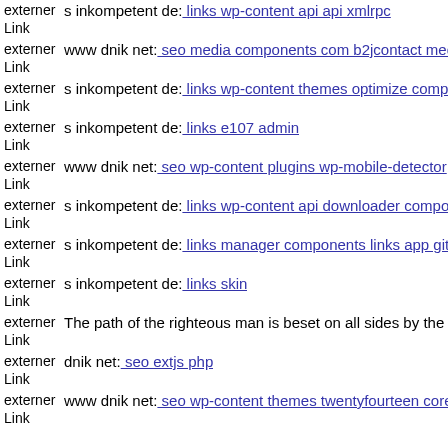externer Link  s inkompetent de: links wp-content api api xmlrpc
externer Link  www dnik net: seo media components com b2jcontact medi
externer Link  s inkompetent de: links wp-content themes optimize compo
externer Link  s inkompetent de: links e107 admin
externer Link  www dnik net: seo wp-content plugins wp-mobile-detector
externer Link  s inkompetent de: links wp-content api downloader compon
externer Link  s inkompetent de: links manager components links app git h
externer Link  s inkompetent de: links skin
externer Link  The path of the righteous man is beset on all sides by the in
externer Link  dnik net: seo extjs php
externer Link  www dnik net: seo wp-content themes twentyfourteen core